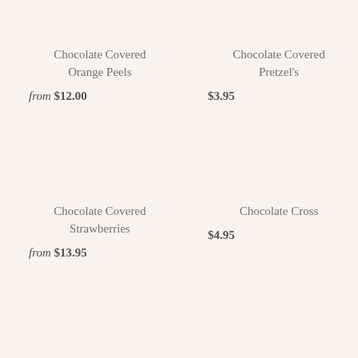Chocolate Covered Orange Peels
from $12.00
Chocolate Covered Pretzel's
$3.95
Chocolate Covered Strawberries
from $13.95
Chocolate Cross
$4.95